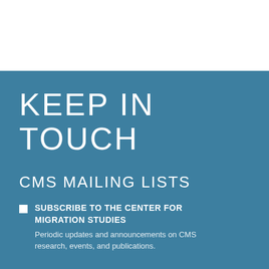KEEP IN TOUCH
CMS MAILING LISTS
SUBSCRIBE TO THE CENTER FOR MIGRATION STUDIES
Periodic updates and announcements on CMS research, events, and publications.